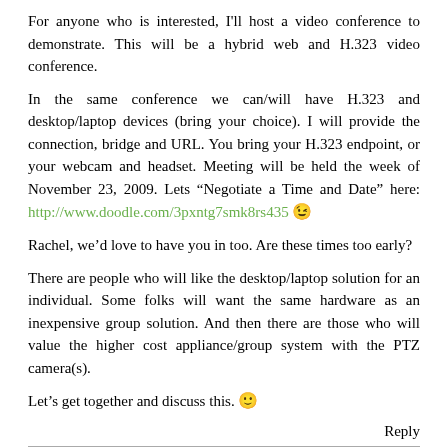For anyone who is interested, I'll host a video conference to demonstrate. This will be a hybrid web and H.323 video conference.
In the same conference we can/will have H.323 and desktop/laptop devices (bring your choice). I will provide the connection, bridge and URL. You bring your H.323 endpoint, or your webcam and headset. Meeting will be held the week of November 23, 2009. Lets “Negotiate a Time and Date” here: http://www.doodle.com/3pxntg7smk8rs435 😉
Rachel, we’d love to have you in too. Are these times too early?
There are people who will like the desktop/laptop solution for an individual. Some folks will want the same hardware as an inexpensive group solution. And then there are those who will value the higher cost appliance/group system with the PTZ camera(s).
Let’s get together and discuss this. 🙂
Reply
CraigM says:
November 18, 2009 at 6:21 pm
Times have been chosen for our H.323 and webcam conference. Th...